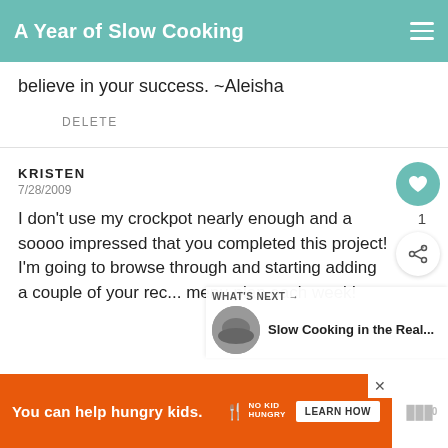A Year of Slow Cooking
believe in your success. ~Aleisha
DELETE
KRISTEN
7/28/2009
I don't use my crockpot nearly enough and a soooo impressed that you completed this project! I'm going to browse through and starting adding a couple of your rec... menu plan each week!
[Figure (screenshot): WHAT'S NEXT arrow widget with thumbnail image and text 'Slow Cooking in the Real...']
[Figure (screenshot): Orange ad banner: 'You can help hungry kids.' with No Kid Hungry logo and LEARN HOW button]